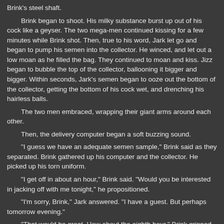Brink's steel shaft.
Brink began to shoot. His milky substance burst up out of his cock like a geyser. The two mega-men continued kissing for a few minutes while Brink shot. Then, true to his word, Jark let go and began to pump his semen into the collector. He winced, and let out a low moan as he filled the bag. They continued to moan and kiss. Jizz began to bubble the top of the collector, ballooning it bigger and bigger. Within seconds, Jark's semen began to ooze out the bottom of the collector, getting the bottom of his cock wet, and drenching his hairless balls.
The two men embraced, wrapping their giant arms around each other.
Then, the delivery computer began a soft buzzing sound.
"I guess we have an adequate semen sample," Brink said as they separated. Brink gathered up his computer and the collector. He picked up his torn uniform.
"I get off in about an hour," Brink said. "Would you be interested in jacking off with me tonight," he propositioned.
"I'm sorry, Brink," Jark answered. "I have a guest. But perhaps tomorrow evening."
"That would be great. How about the eighth hour," Brink grinned. He turned to leave, and said "Thank you for using You Pee-Ess." He walked back to his transport vehicle and drove off.
Jark picked up the large package. It looked heavy. His muscles tightened as he lifted it. He moved it inside the door and set it aside. We made our way back to the family room. "Damn, those You Pee-Ess guys are so fuckin' HOT!" he said as we walked.
We going back to the rest of main room, I'll go... Brink. Stand by...